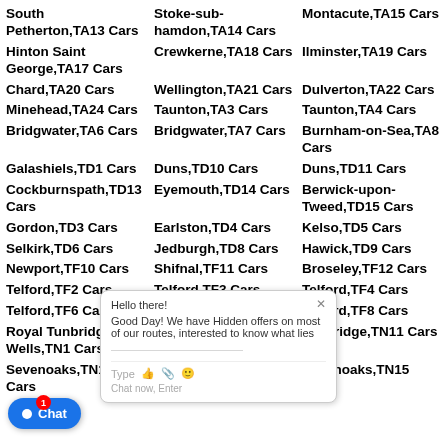South Petherton,TA13 Cars
Stoke-sub-hamdon,TA14 Cars
Montacute,TA15 Cars
Hinton Saint George,TA17 Cars
Crewkerne,TA18 Cars
Ilminster,TA19 Cars
Chard,TA20 Cars
Wellington,TA21 Cars
Dulverton,TA22 Cars
Minehead,TA24 Cars
Taunton,TA3 Cars
Taunton,TA4 Cars
Bridgwater,TA6 Cars
Bridgwater,TA7 Cars
Burnham-on-Sea,TA8 Cars
Galashiels,TD1 Cars
Duns,TD10 Cars
Duns,TD11 Cars
Cockburnspath,TD13 Cars
Eyemouth,TD14 Cars
Berwick-upon-Tweed,TD15 Cars
Gordon,TD3 Cars
Earlston,TD4 Cars
Kelso,TD5 Cars
Selkirk,TD6 Cars
Jedburgh,TD8 Cars
Hawick,TD9 Cars
Newport,TF10 Cars
Shifnal,TF11 Cars
Broseley,TF12 Cars
Telford,TF2 Cars
Telford,TF3 Cars
Telford,TF4 Cars
Telford,TF6 Cars
Telford,TF7 Cars
Telford,TF8 Cars
Royal Tunbridge Wells,TN1 Cars
Tonbridge,TN10 Cars
Tonbridge,TN11 Cars
Sevenoaks,TN13 Cars
Sevenoaks,TN14 Cars
Sevenoaks,TN15 Cars